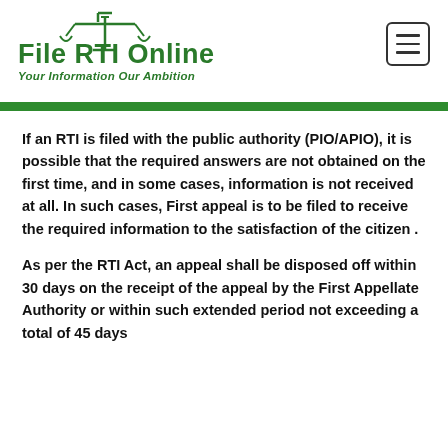[Figure (logo): File RTI Online logo with scales of justice icon and tagline 'Your Information Our Ambition']
If an RTI is filed with the public authority (PIO/APIO), it is possible that the required answers are not obtained on the first time, and in some cases, information is not received at all. In such cases, First appeal is to be filed to receive the required information to the satisfaction of the citizen .
As per the RTI Act, an appeal shall be disposed off within 30 days on the receipt of the appeal by the First Appellate Authority or within such extended period not exceeding a total of 45 days